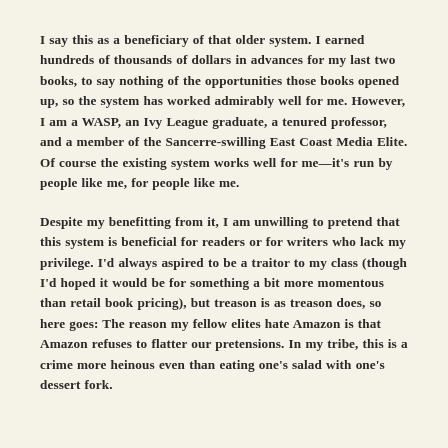I say this as a beneficiary of that older system. I earned hundreds of thousands of dollars in advances for my last two books, to say nothing of the opportunities those books opened up, so the system has worked admirably well for me. However, I am a WASP, an Ivy League graduate, a tenured professor, and a member of the Sancerre-swilling East Coast Media Elite. Of course the existing system works well for me—it's run by people like me, for people like me.
Despite my benefitting from it, I am unwilling to pretend that this system is beneficial for readers or for writers who lack my privilege. I'd always aspired to be a traitor to my class (though I'd hoped it would be for something a bit more momentous than retail book pricing), but treason is as treason does, so here goes: The reason my fellow elites hate Amazon is that Amazon refuses to flatter our pretensions. In my tribe, this is a crime more heinous even than eating one's salad with one's dessert fork.